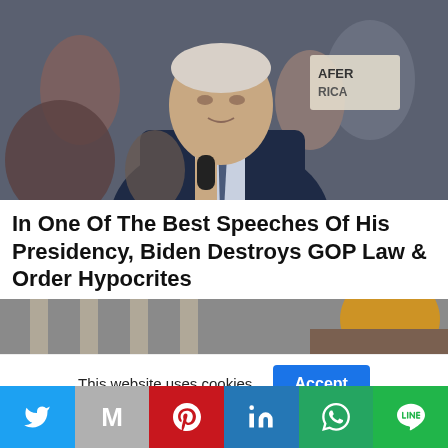[Figure (photo): Man in dark blue suit speaking into a microphone at a public event, with people and a sign visible in the background]
In One Of The Best Speeches Of His Presidency, Biden Destroys GOP Law & Order Hypocrites
[Figure (photo): Partial view of a building with columns and a colorful element, partially cropped]
This website uses cookies.
Accept